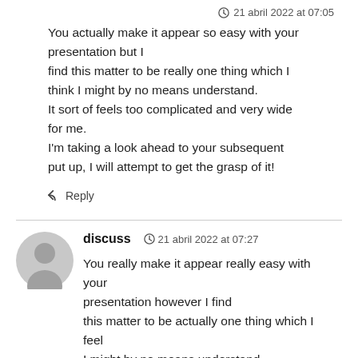21 abril 2022 at 07:05
You actually make it appear so easy with your presentation but I find this matter to be really one thing which I think I might by no means understand. It sort of feels too complicated and very wide for me. I'm taking a look ahead to your subsequent put up, I will attempt to get the grasp of it!
Reply
discuss
21 abril 2022 at 07:27
You really make it appear really easy with your presentation however I find this matter to be actually one thing which I feel I might by no means understand.